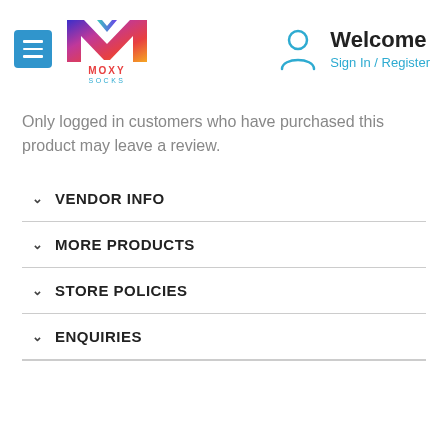[Figure (logo): Moxy Socks logo with colorful M letter mark and 'MOXY SOCKS' text below]
Welcome
Sign In / Register
Only logged in customers who have purchased this product may leave a review.
VENDOR INFO
MORE PRODUCTS
STORE POLICIES
ENQUIRIES